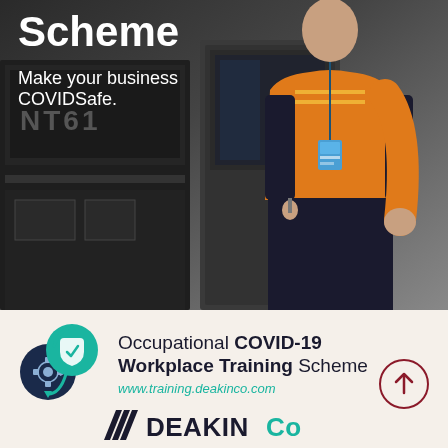Scheme
Make your business COVIDSafe.
[Figure (photo): Industrial/manufacturing background with a worker wearing an orange hi-vis jacket and dark trousers, holding keys, with an ID badge lanyard. Dark machinery in the background.]
[Figure (logo): Circular logo with two interlocking circles: a teal circle with a checkmark shield and a dark navy circle with a gear/cog icon, connected by teal arrows forming a cycle.]
Occupational COVID-19 Workplace Training Scheme
www.training.deakinco.com
[Figure (logo): Deakin Co logo: geometric angular lines symbol followed by DEAKINCo text in bold dark lettering]